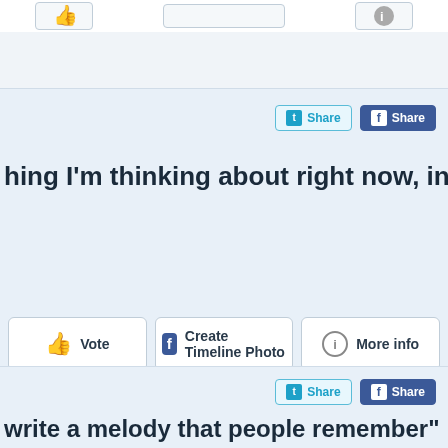[Figure (screenshot): Top partial card showing social media UI with icon buttons]
hing I'm thinking about right now, in order of
[Figure (screenshot): Twitter Share button]
[Figure (screenshot): Facebook Share button]
[Figure (screenshot): Vote button with thumbs up icon]
[Figure (screenshot): Create Timeline Photo button with Facebook icon]
[Figure (screenshot): More info button with info icon]
write a melody that people remember"